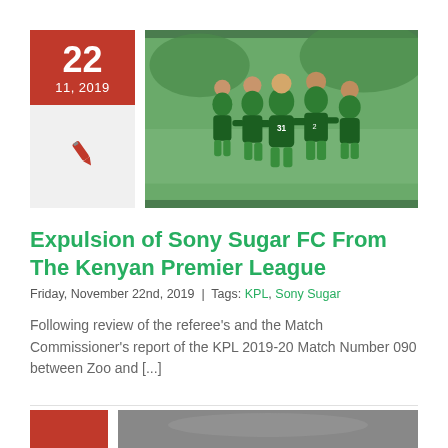[Figure (photo): Football players in green jerseys celebrating on a pitch]
Expulsion of Sony Sugar FC From The Kenyan Premier League
Friday, November 22nd, 2019 | Tags: KPL, Sony Sugar
Following review of the referee's and the Match Commissioner's report of the KPL 2019-20 Match Number 090 between Zoo and [...]